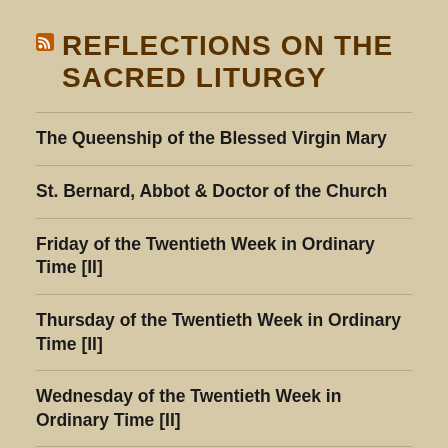REFLECTIONS ON THE SACRED LITURGY
The Queenship of the Blessed Virgin Mary
St. Bernard, Abbot & Doctor of the Church
Friday of the Twentieth Week in Ordinary Time [II]
Thursday of the Twentieth Week in Ordinary Time [II]
Wednesday of the Twentieth Week in Ordinary Time [II]
The Twenty-first Sunday in Ordinary Time [C]